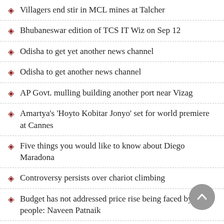Villagers end stir in MCL mines at Talcher
Bhubaneswar edition of TCS IT Wiz on Sep 12
Odisha to get yet another news channel
Odisha to get another news channel
AP Govt. mulling building another port near Vizag
Amartya's 'Hoyto Kobitar Jonyo' set for world premiere at Cannes
Five things you would like to know about Diego Maradona
Controversy persists over chariot climbing
Budget has not addressed price rise being faced by people: Naveen Patnaik
153th birth anniversary of Swabhaba Kabi observed
Tampara: The Lake Oasis
Two human skeletons recovered from Baitarani river
Kisan Santa pushes the political button, and that is good news
MMD flags green signal for repatriation of Bangla crew...